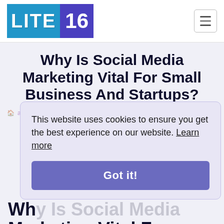[Figure (logo): LITE16 logo with blue background for LITE and dark purple background for 16]
Why Is Social Media Marketing Vital For Small Business And Startups?
This website uses cookies to ensure you get the best experience on our website. Learn more
Got it!
Why Is Social Media Marketing Vital For